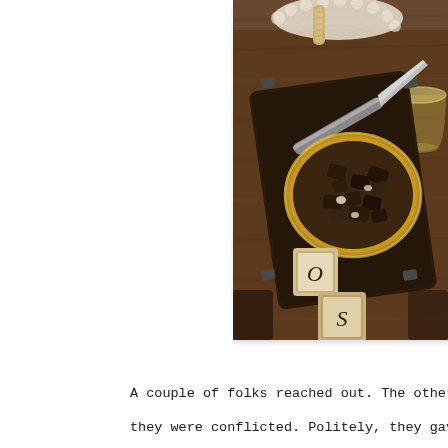[Figure (photo): Overhead food photography on a dark wooden surface showing a rustic cutting board with a decorative metal bowl filled with dark chocolate chunks or truffles, a knife, a glass of white wine or spirits, a cork, a lace doily, and two vintage letterpress stamps with letters 'O' and 'S'.]
A couple of folks reached out. The others w they were conflicted. Politely, they gave t bite. And another. All of a sudden, hands s